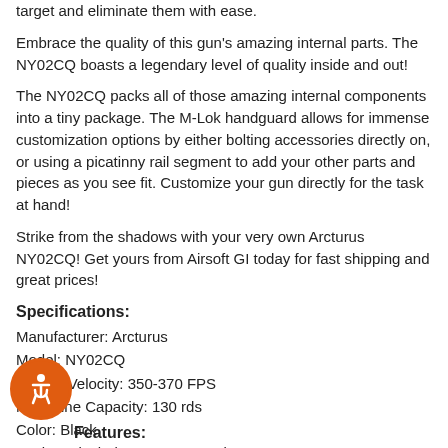target and eliminate them with ease.
Embrace the quality of this gun's amazing internal parts. The NY02CQ boasts a legendary level of quality inside and out!
The NY02CQ packs all of those amazing internal components into a tiny package. The M-Lok handguard allows for immense customization options by either bolting accessories directly on, or using a picatinny rail segment to add your other parts and pieces as you see fit. Customize your gun directly for the task at hand!
Strike from the shadows with your very own Arcturus NY02CQ! Get yours from Airsoft GI today for fast shipping and great prices!
Specifications:
Manufacturer: Arcturus
Model: NY02CQ
Muzzle Velocity: 350-370 FPS
Magazine Capacity: 130 rds
Color: Black
Package includes: Gun, Magazine
Warranty Length: 30 Days
Warranty Handler: JAG (Warranty Policy)
Features: